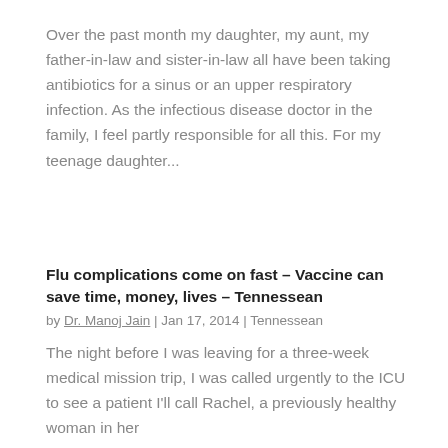Over the past month my daughter, my aunt, my father-in-law and sister-in-law all have been taking antibiotics for a sinus or an upper respiratory infection. As the infectious disease doctor in the family, I feel partly responsible for all this. For my teenage daughter...
Flu complications come on fast – Vaccine can save time, money, lives – Tennessean
by Dr. Manoj Jain | Jan 17, 2014 | Tennessean
The night before I was leaving for a three-week medical mission trip, I was called urgently to the ICU to see a patient I'll call Rachel, a previously healthy woman in her